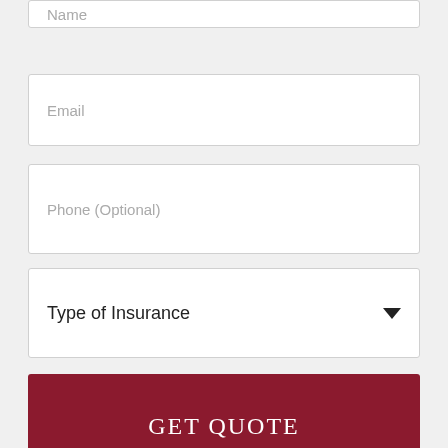Name
Email
Phone (Optional)
Type of Insurance
GET QUOTE